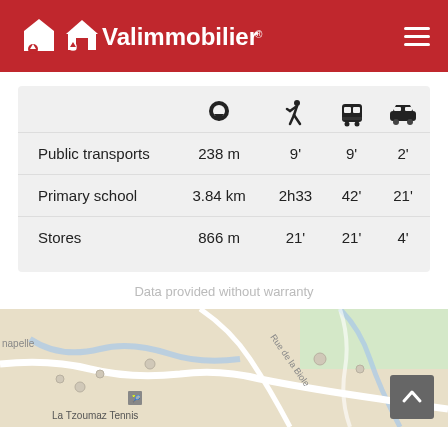Valimmobilier
|  | 📍 | 🚶 | 🚌 | 🚗 |
| --- | --- | --- | --- | --- |
| Public transports | 238 m | 9' | 9' | 2' |
| Primary school | 3.84 km | 2h33 | 42' | 21' |
| Stores | 866 m | 21' | 21' | 4' |
Data provided without warranty
[Figure (map): Street map showing La Tzoumaz area with roads including Rue de la Biole, La Tzoumaz Tennis landmark visible]